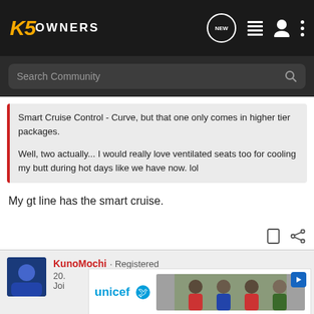K5 OWNERS
Search Community
Smart Cruise Control - Curve, but that one only comes in higher tier packages.

Well, two actually... I would really love ventilated seats too for cooling my butt during hot days like we have now. lol
My gt line has the smart cruise.
KunoMochi · Registered
20.
Joi